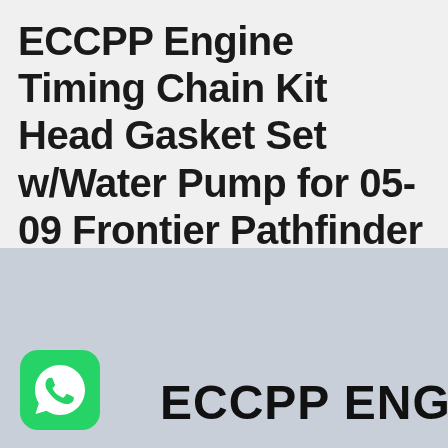ECCPP Engine Timing Chain Kit Head Gasket Set w/Water Pump for 05-09 Frontier Pathfinder Xterra 4.0L Head Gasket Set
[Figure (logo): WhatsApp logo icon — green rounded square with white phone handset in speech bubble]
ECCPP ENGIN